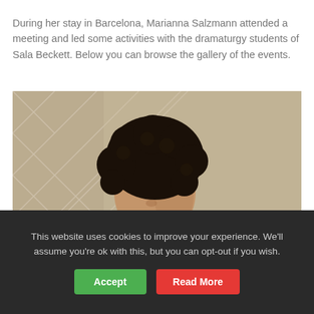During her stay in Barcelona, Marianna Salzmann attended a meeting and led some activities with the dramaturgy students of Sala Beckett. Below you can browse the gallery of the events.
[Figure (photo): Portrait photo of a woman with curly dark hair, looking upward, wearing a dark jacket, in an indoor setting with decorative lattice background.]
This website uses cookies to improve your experience. We'll assume you're ok with this, but you can opt-out if you wish.